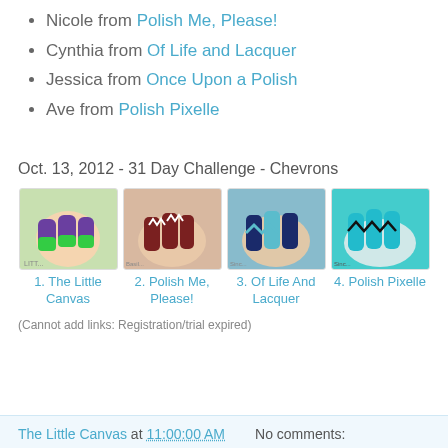Nicole from Polish Me, Please!
Cynthia from Of Life and Lacquer
Jessica from Once Upon a Polish
Ave from Polish Pixelle
Oct. 13, 2012 - 31 Day Challenge - Chevrons
[Figure (photo): Thumbnail of nail art from The Little Canvas - purple and green chevron nails]
[Figure (photo): Thumbnail of nail art from Polish Me, Please! - brown/white chevron nails]
[Figure (photo): Thumbnail of nail art from Of Life And Lacquer - teal and navy chevron nails]
[Figure (photo): Thumbnail of nail art from Polish Pixelle - turquoise and black chevron nails]
(Cannot add links: Registration/trial expired)
The Little Canvas at 11:00:00 AM   No comments: